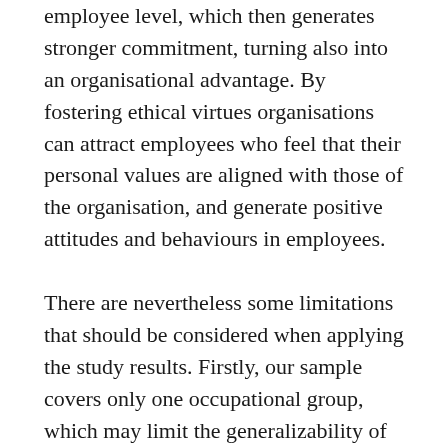ethical values and positive attitudes on an individual employee level, which then generates stronger commitment, turning also into an organisational advantage. By fostering ethical virtues organisations can attract employees who feel that their personal values are aligned with those of the organisation, and generate positive attitudes and behaviours in employees.
There are nevertheless some limitations that should be considered when applying the study results. Firstly, our sample covers only one occupational group, which may limit the generalizability of the results. However, as we mentioned in the introduction, there are several aspects of school psychologists' work which are present among other human service professions in